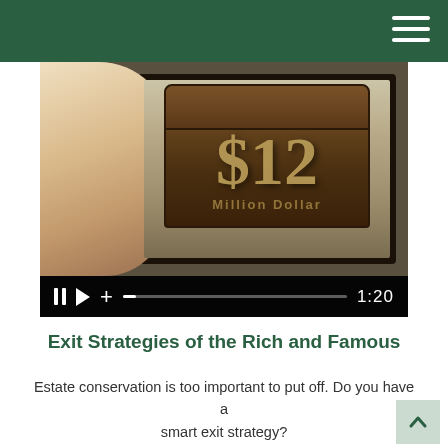[Figure (screenshot): Video player screenshot showing a hand holding a tablet with an image of a treasure chest displaying '$12 Million Dollar' text. Video controls show pause, play, plus, progress bar, and timestamp 1:20.]
Exit Strategies of the Rich and Famous
Estate conservation is too important to put off. Do you have a smart exit strategy?